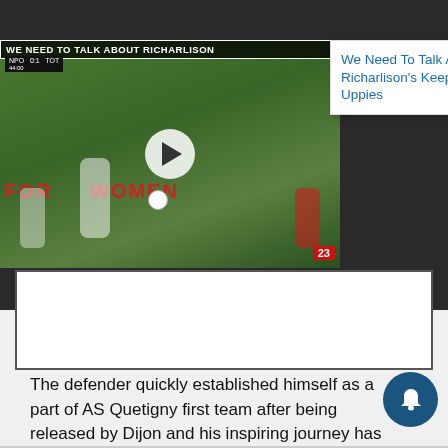[Figure (screenshot): Video thumbnail showing a football match with player doing keepie-uppies. Title bar reads 'WE NEED TO TALK ABOUT RICHARLISON'. Green grass background with red banner text 'FOR WOMEN'. Play button overlay. Number 23 badge. Adjacent popup card with close button showing title 'We Need To Talk About Richarlison's Keepie-Uppies' in blue text.]
The defender quickly established himself as a part of AS Quetigny first team after being released by Dijon and his inspiring journey has now taken him to England.